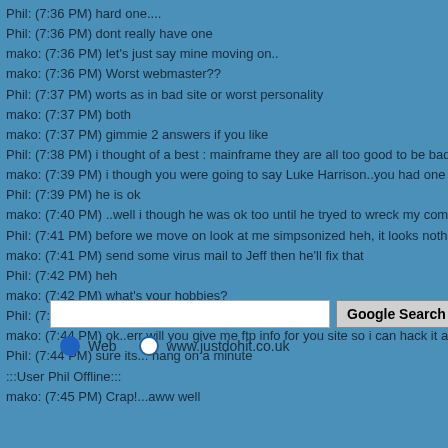Phil: (7:36 PM) hard one....
Phil: (7:36 PM) dont really have one
mako: (7:36 PM) let's just say mine moving on..
mako: (7:36 PM) Worst webmaster??
Phil: (7:37 PM) worts as in bad site or worst personality
mako: (7:37 PM) both
mako: (7:37 PM) gimmie 2 answers if you like
Phil: (7:38 PM) i thought of a best : mainframe they are all too good to be bad
mako: (7:39 PM) i though you were going to say Luke Harrison..you had one hell of an argument with him
Phil: (7:39 PM) he is ok
mako: (7:40 PM) ..well i though he was ok too until he tryed to wreck my computer with the hi how are yo
Phil: (7:41 PM) before we move on look at me simpsonized heh, it looks nothing like me! http://www.mo
mako: (7:41 PM) send some virus mail to Jeff then he'll fix that
Phil: (7:42 PM) heh
mako: (7:42 PM) what's your hobbies?
Phil: (7:43 PM) golf, simpsons, football
mako: (7:44 PM) ok..err will you give me ftp info for you site so i can hack it and wreck it??
Phil: (7:44 PM) sure its... hang on a minute
:::User Phil Offline:::
mako: (7:45 PM) Crap!...aww well
[Figure (other): Google search box with text input field and Google Search button, with radio buttons for Web and www.justdohit.co.uk]